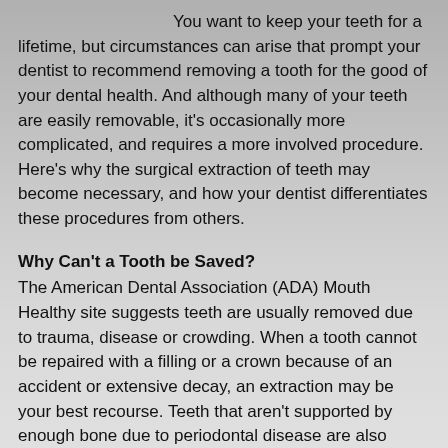You want to keep your teeth for a lifetime, but circumstances can arise that prompt your dentist to recommend removing a tooth for the good of your dental health. And although many of your teeth are easily removable, it's occasionally more complicated, and requires a more involved procedure. Here's why the surgical extraction of teeth may become necessary, and how your dentist differentiates these procedures from others.
Why Can't a Tooth be Saved?
The American Dental Association (ADA) Mouth Healthy site suggests teeth are usually removed due to trauma, disease or crowding. When a tooth cannot be repaired with a filling or a crown because of an accident or extensive decay, an extraction may be your best recourse. Teeth that aren't supported by enough bone due to periodontal disease are also candidates for removal, according to Warren Dentistry, necessitating the use of a gum-protecting toothpaste like Colgate TotalÆ Clean Mint following extraction. Infected (abscessed) teeth that don't respond to root canal treatment may need to be taken out, as well.